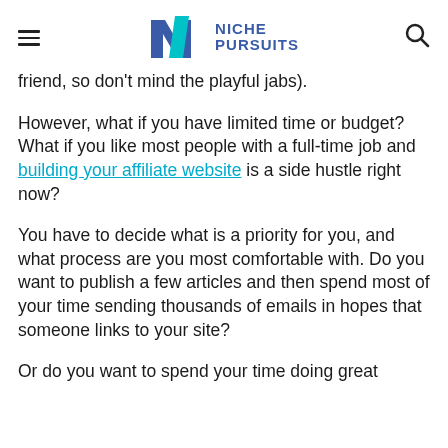Niche Pursuits
friend, so don't mind the playful jabs).
However, what if you have limited time or budget?  What if you like most people with a full-time job and building your affiliate website is a side hustle right now?
You have to decide what is a priority for you, and what process are you most comfortable with.  Do you want to publish a few articles and then spend most of your time sending thousands of emails in hopes that someone links to your site?
Or do you want to spend your time doing great